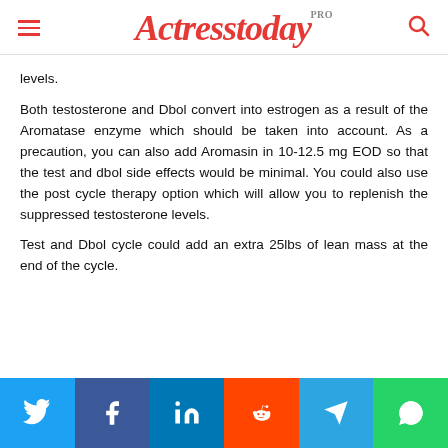Actresstoday PRO
levels.
Both testosterone and Dbol convert into estrogen as a result of the Aromatase enzyme which should be taken into account. As a precaution, you can also add Aromasin in 10-12.5 mg EOD so that the test and dbol side effects would be minimal. You could also use the post cycle therapy option which will allow you to replenish the suppressed testosterone levels.
Test and Dbol cycle could add an extra 25lbs of lean mass at the end of the cycle.
[Figure (infographic): Social share buttons: Twitter, Facebook, LinkedIn, Reddit, Telegram, WhatsApp]